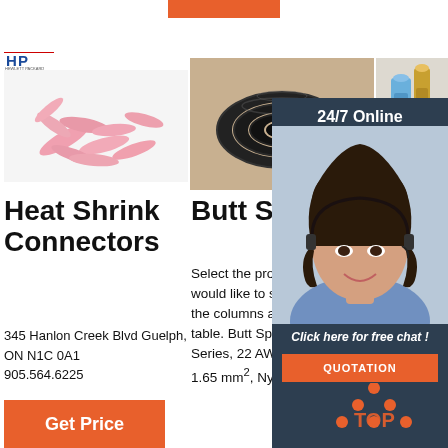[Figure (photo): Orange bar at top center]
[Figure (logo): HP company logo in blue]
[Figure (photo): Pink heat shrink connectors scattered on white background]
[Figure (photo): Black braided wire coiled on tan/gold fabric background]
[Figure (photo): Blue and gold butt splice connectors on light background]
[Figure (infographic): 24/7 Online chat overlay panel with customer service agent photo, dark navy background, orange QUOTATION button]
Heat Shrink Connectors
345 Hanlon Creek Blvd Guelph, ON N1C 0A1
905.564.6225
[Figure (other): Get Price orange button]
Butt Splices
Select the properties you would like to see added to the columns at the end of the table. Butt Splice, Red, PIDG Series, 22 AWG, 16 AWG, 1.65 mm², Nylon
JST (JAPAN SOLDERLESS TERMINALS) Butt Splices
20 rowsu2002-u2002 Date And Lot. Butt Splice, C Series, 22 AWG, 16